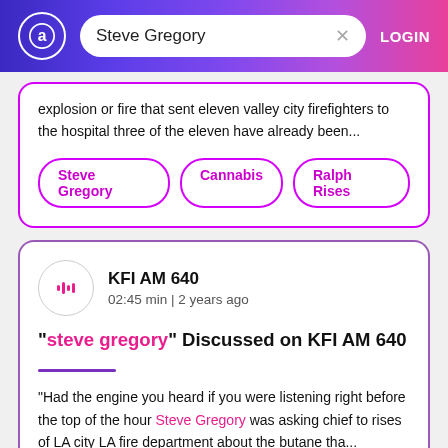Steve Gregory — search bar with LOGIN
explosion or fire that sent eleven valley city firefighters to the hospital three of the eleven have already been...
Steve Gregory
Cannabis
Ralph Rises
KFI AM 640
02:45 min | 2 years ago
"steve gregory" Discussed on KFI AM 640
"Had the engine you heard if you were listening right before the top of the hour Steve Gregory was asking chief to rises of LA city LA fire department about the butane tha...